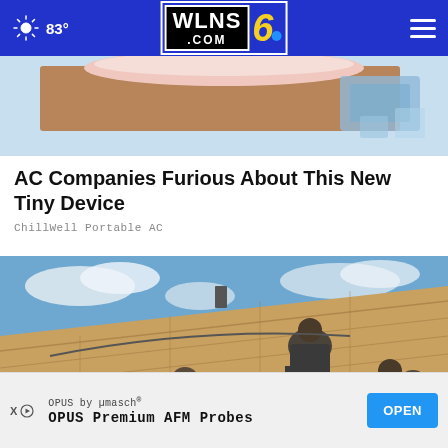83° WLNS6.COM
[Figure (photo): Partial cropped photo at top of page showing a beige/brown textured surface with pink/white soft material and blue packaging, possibly an AC or insulation product.]
AC Companies Furious About This New Tiny Device
ChillWell Portable AC
[Figure (photo): Workers on a rooftop doing construction or roofing work on a wooden plank roof against a blue partly cloudy sky with some trees visible in background.]
OPUS by µmasch® OPUS Premium AFM Probes OPEN